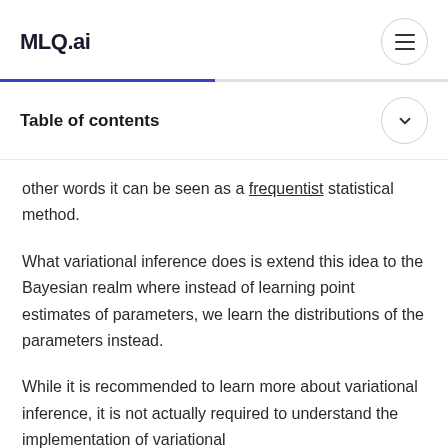MLQ.ai
Table of contents
other words it can be seen as a frequentist statistical method.
What variational inference does is extend this idea to the Bayesian realm where instead of learning point estimates of parameters, we learn the distributions of the parameters instead.
While it is recommended to learn more about variational inference, it is not actually required to understand the implementation of variational